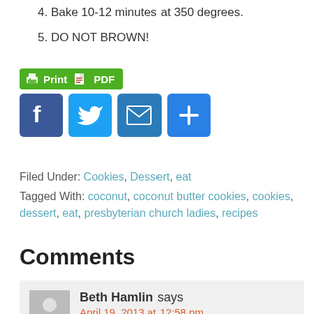4. Bake 10-12 minutes at 350 degrees.
5. DO NOT BROWN!
[Figure (other): Print and PDF button, and social share buttons (Facebook, Twitter, Email, Plus)]
Filed Under: Cookies, Dessert, eat
Tagged With: coconut, coconut butter cookies, cookies, dessert, eat, presbyterian church ladies, recipes
Comments
Beth Hamlin says
April 19, 2013 at 12:58 pm